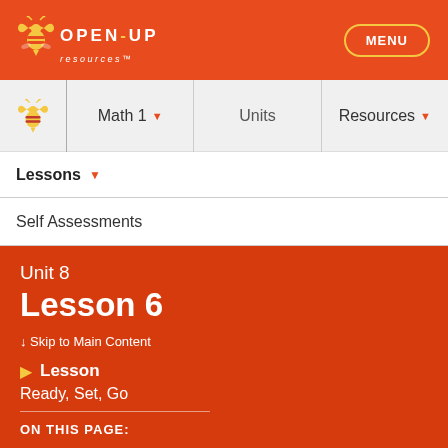OPEN-UP resources
[Figure (logo): Open Up Resources bee logo with orange and yellow colors]
MENU
[Figure (logo): Small Open Up Resources bee icon in navigation bar]
Math 1 ▾
Units
Resources ▾
Lessons ▾
Self Assessments
Unit 8
Lesson 6
↓ Skip to Main Content
Lesson
Ready, Set, Go
ON THIS PAGE: